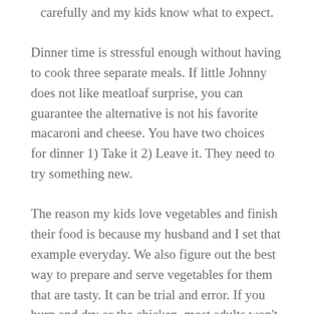carefully and my kids know what to expect.
Dinner time is stressful enough without having to cook three separate meals. If little Johnny does not like meatloaf surprise, you can guarantee the alternative is not his favorite macaroni and cheese. You have two choices for dinner 1) Take it 2) Leave it. They need to try something new.
The reason my kids love vegetables and finish their food is because my husband and I set that example everyday. We also figure out the best way to prepare and serve vegetables for them that are tasty. It can be trial and error. If you burn and dry or the chicken, most adults won't eat it. When I want cake or ice cream out of the carton, I make sure they are napping or I am hiding in the closet.